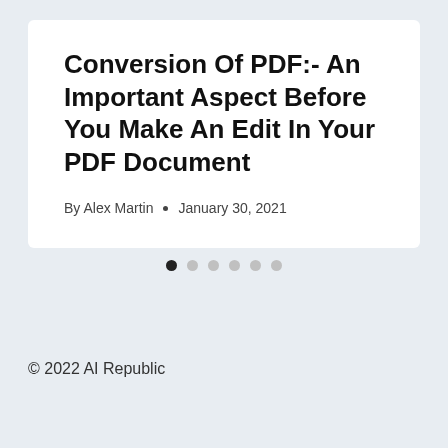Conversion Of PDF:- An Important Aspect Before You Make An Edit In Your PDF Document
By Alex Martin • January 30, 2021
[Figure (other): Carousel pagination dots — one dark filled dot followed by five light grey dots]
© 2022 AI Republic